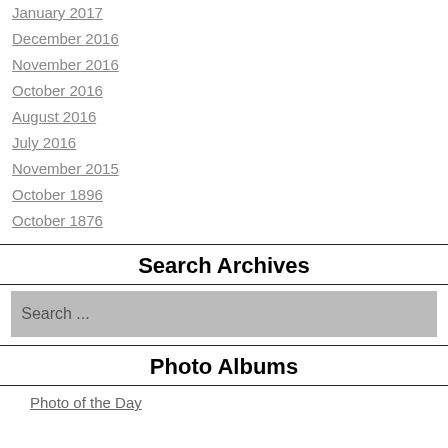January 2017
December 2016
November 2016
October 2016
August 2016
July 2016
November 2015
October 1896
October 1876
Search Archives
Search ...
Photo Albums
Photo of the Day